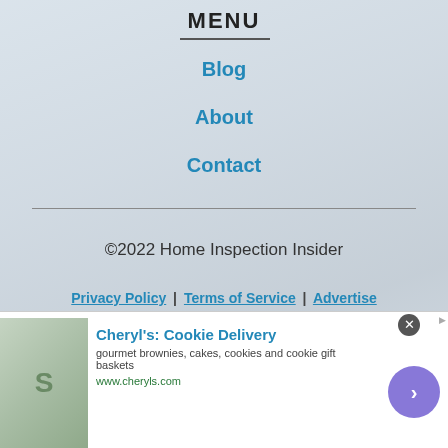MENU
Blog
About
Contact
©2022 Home Inspection Insider
Privacy Policy | Terms of Service | Advertise
[Figure (screenshot): Advertisement banner for Cheryl's Cookie Delivery showing food image, title, description 'gourmet brownies, cakes, cookies and cookie gift baskets', URL www.cheryls.com, and a purple circular arrow button]